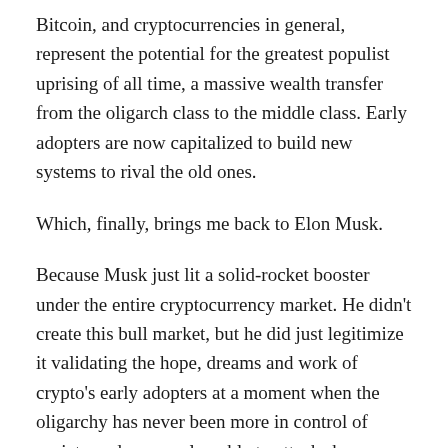Bitcoin, and cryptocurrencies in general, represent the potential for the greatest populist uprising of all time, a massive wealth transfer from the oligarch class to the middle class. Early adopters are now capitalized to build new systems to rival the old ones.
Which, finally, brings me back to Elon Musk.
Because Musk just lit a solid-rocket booster under the entire cryptocurrency market. He didn’t create this bull market, but he did just legitimize it validating the hope, dreams and work of crypto’s early adopters at a moment when the oligarchy has never been more in control of society and more vulnerable to attacks because of its illegitimacy and complexity.